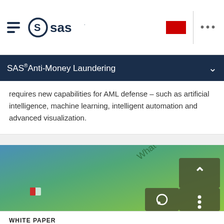SAS (logo) navigation bar
SAS® Anti-Money Laundering
requires new capabilities for AML defense – such as artificial intelligence, machine learning, intelligent automation and advanced visualization.
[Figure (illustration): Gradient banner image with blue-to-green background and diagonal text reading 'What is next-generation AML?' with navigation overlay buttons (up arrow, chat, menu)]
WHITE PAPER